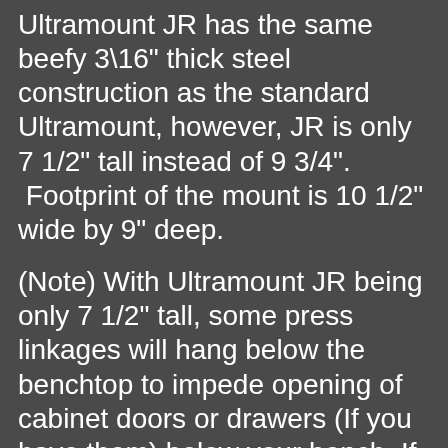Ultramount JR has the same beefy 3\16" thick steel construction as the standard Ultramount, however, JR is only 7 1/2" tall instead of 9 3/4". Footprint of the mount is 10 1/2" wide by 9" deep.
(Note) With Ultramount JR being only 7 1/2" tall, some press linkages will hang below the benchtop to impede opening of cabinet doors or drawers (If you have them) below your bench. If you have any doubt, before placing an order, measure the linkages hanging down below your bench top and subtract 7 1/2".